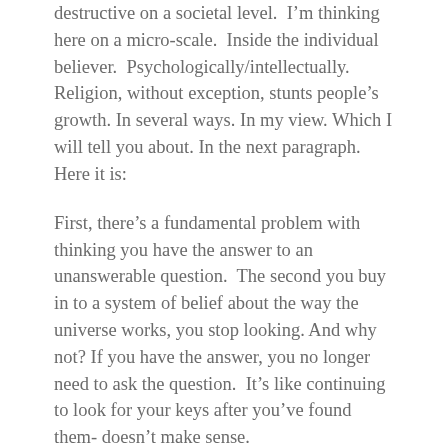destructive on a societal level.  I'm thinking here on a micro-scale.  Inside the individual believer.  Psychologically/intellectually.  Religion, without exception, stunts people's growth. In several ways. In my view. Which I will tell you about. In the next paragraph. Here it is:
First, there's a fundamental problem with thinking you have the answer to an unanswerable question.  The second you buy in to a system of belief about the way the universe works, you stop looking. And why not? If you have the answer, you no longer need to ask the question.  It's like continuing to look for your keys after you've found them- doesn't make sense.
The obvious problem with this is that your answer is not only unsupported by any evidence, but is often in direct conflict with what observable facts we do have.  That doesn't make it wrong, but it certainly places a pretty heavy burden of proof on you if you want anybody else to take you seriously. But that's not what